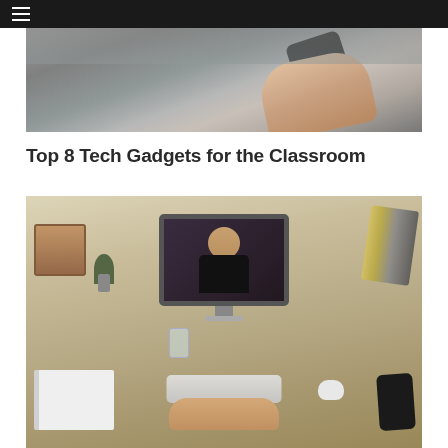≡
[Figure (photo): A hand holding a black smartphone or device against a gray concrete background]
Top 8 Tech Gadgets for the Classroom
[Figure (photo): A person sitting at a wooden desk with an iMac computer showing a video call with a woman on screen, surrounded by notebooks, a wire basket with files, a small plant, books in a cup, a keyboard, mouse, and a phone]